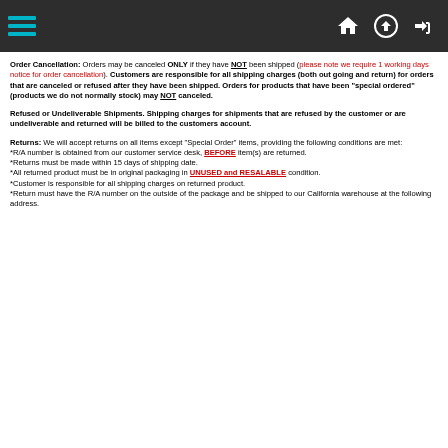[Navigation header with hamburger menu and icons]
Order Cancellation: Orders may be canceled ONLY if they have NOT been shipped (please note we require 1 working days notice for order cancellation). Customers are responsible for all shipping charges (both out going and return) for orders that are canceled or refused after they have been shipped. Orders for products that have been "special ordered" (products we do not normally stock) may NOT canceled.
Refused or Undeliverable Shipments. Shipping charges for shipments that are refused by the customer or are undeliverable and returned will be billed to the customers account.
Returns: We will accept returns on all items except "Special Order" items, providing the following conditions are met:
*R/A number is obtained from our customer service desk, BEFORE item(s) are returned.
*Returns must be made within 15 days of shipping date.
*All returned product must be in original packaging in UNUSED and RESALABLE condition.
*Customer is responsible for all shipping charges on returned product.
*Return must have the R/A number on the outside of the package and be shipped to our California warehouse at the following address.